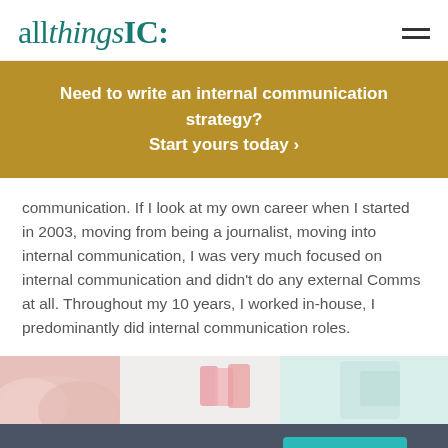allthingsIC:
Need to write an internal communication strategy? Start yours today ›
communication. If I look at my own career when I started in 2003, moving from being a journalist, moving into internal communication, I was very much focused on internal communication and didn’t do any external Comms at all. Throughout my 10 years, I worked in-house, I predominantly did internal communication roles.
[Figure (photo): Partial photo strip showing flowers, paper clips and office items]
This site uses cookies   More info   No problem